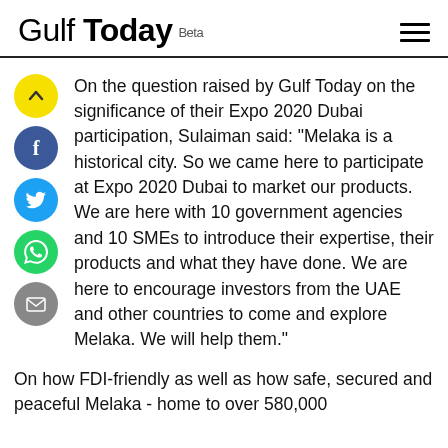Gulf Today Beta
On the question raised by Gulf Today on the significance of their Expo 2020 Dubai participation, Sulaiman said: “Melaka is a historical city. So we came here to participate at Expo 2020 Dubai to market our products. We are here with 10 government agencies and 10 SMEs to introduce their expertise, their products and what they have done. We are here to encourage investors from the UAE and other countries to come and explore Melaka. We will help them.”
On how FDI-friendly as well as how safe, secured and peaceful Melaka - home to over 580,000 inhabitants -